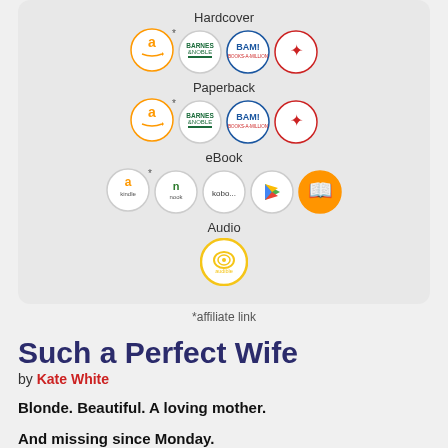[Figure (other): Retailer store buttons for Hardcover, Paperback, eBook, and Audio formats including Amazon, Barnes & Noble, BAM!, Hobound, Kindle, Nook, Kobo, Google Play, Apple Books, and Audible icons arranged in rows within a rounded card]
*affiliate link
Such a Perfect Wife
by Kate White
Blonde. Beautiful. A loving mother.
And missing since Monday.
On a sunny morning in late September, Shannon Blaine